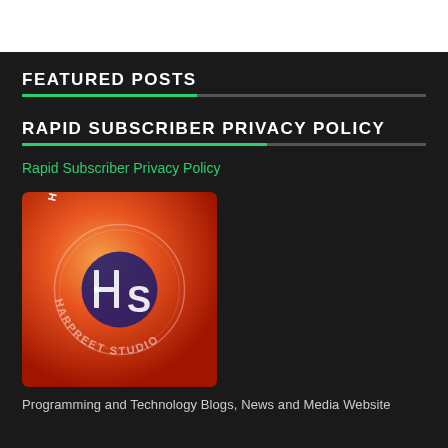FEATURED POSTS
RAPID SUBSCRIBER PRIVACY POLICY
Rapid Subscriber Privacy Policy
[Figure (logo): Harpreet Studio logo — circular text 'HARPREET STUDIO' on red-orange gradient background with stylized HS monogram in dark blue]
Programming and Technology Blogs, News and Media Website